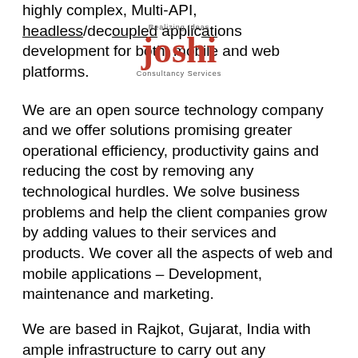highly complex, Multi-API, headless/decoupled applications development for both, mobile and web platforms.
[Figure (logo): Joshi Consultancy Services watermark logo with 'Realizing Ideas' tagline overlaid on the text]
We are an open source technology company and we offer solutions promising greater operational efficiency, productivity gains and reducing the cost by removing any technological hurdles. We solve business problems and help the client companies grow by adding values to their services and products. We cover all the aspects of web and mobile applications – Development, maintenance and marketing.
We are based in Rajkot, Gujarat, India with ample infrastructure to carry out any requirements of our customers. We help our